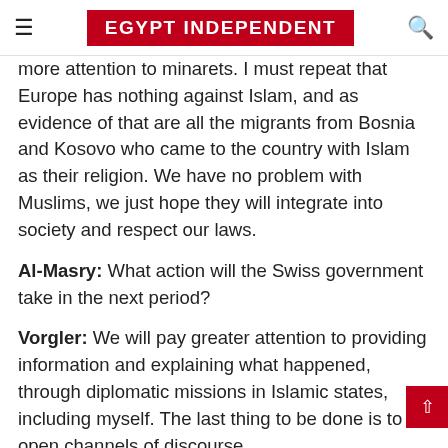EGYPT INDEPENDENT
more attention to minarets. I must repeat that Europe has nothing against Islam, and as evidence of that are all the migrants from Bosnia and Kosovo who came to the country with Islam as their religion. We have no problem with Muslims, we just hope they will integrate into society and respect our laws.
Al-Masry: What action will the Swiss government take in the next period?
Vorgler: We will pay greater attention to providing information and explaining what happened, through diplomatic missions in Islamic states, including myself. The last thing to be done is to open channels of discourse